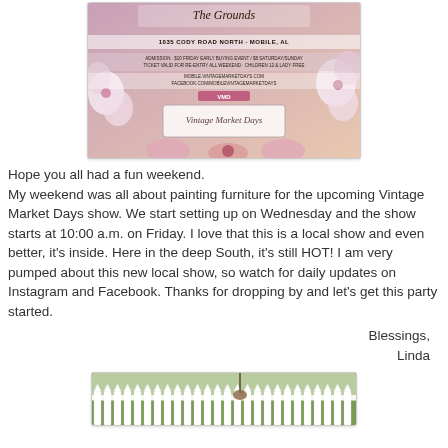[Figure (photo): Vintage Market Days event flyer for The Grounds at 1035 Cody Road North, Mobile, AL. Decorated with floral motifs and cursive text. Shows VMD logo and Vintage Market Days branding.]
Hope you all had a fun weekend.
My weekend was all about painting furniture for the upcoming Vintage Market Days show. We start setting up on Wednesday and the show starts at 10:00 a.m. on Friday. I love that this is a local show and even better, it's inside. Here in the deep South, it's still HOT! I am very pumped about this new local show, so watch for daily updates on Instagram and Facebook. Thanks for dropping by and let's get this party started.
Blessings,
Linda
[Figure (photo): Photo of a white picket fence with green outdoor scenery and what appears to be a decorative item hanging.]